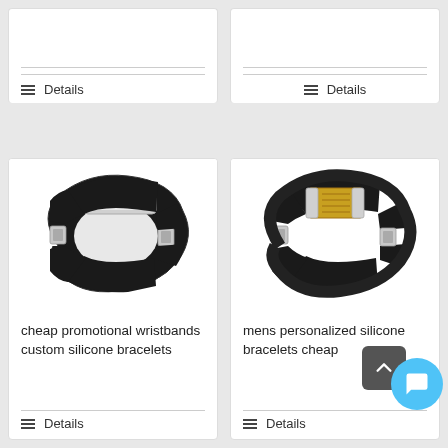[Figure (other): Top-left product card (partial) showing a Details link at bottom]
[Figure (other): Top-right product card (partial) showing a Details link at bottom]
[Figure (photo): Black silicone rubber bracelet with silver stainless steel plate]
cheap promotional wristbands custom silicone bracelets
Details
[Figure (photo): Black silicone bracelet with gold and silver tone rectangular plate]
mens personalized silicone bracelets cheap
Details